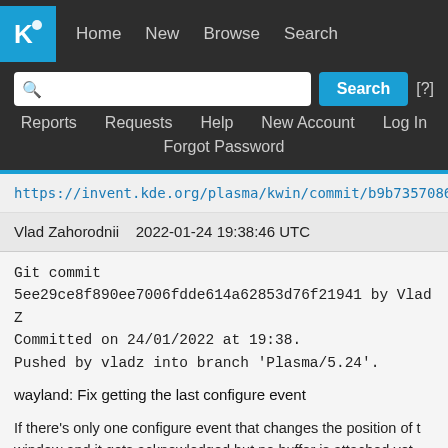Home  New  Browse  Search
Reports  Requests  Help  New Account  Log In
Forgot Password
https://invent.kde.org/plasma/kwin/commit/b9b735708653ff6bf5
Vlad Zahorodnii   2022-01-24 19:38:46 UTC
Git commit 5ee29ce8f890ee7006fdde614a62853d76f21941 by Vlad Z
Committed on 24/01/2022 at 19:38.
Pushed by vladz into branch 'Plasma/5.24'.
wayland: Fix getting the last configure event
If there's only one configure event that changes the position of the window and it gets acknowledged but no buffer is attached yet...